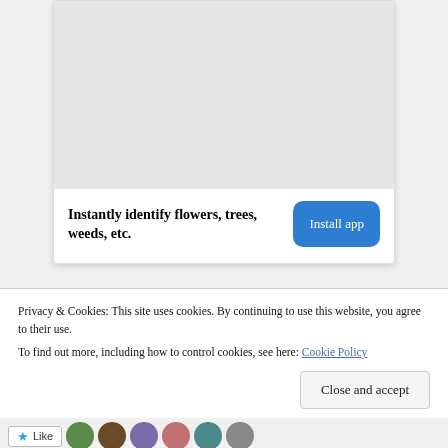[Figure (screenshot): Advertisement card with a light gray image area at top, then text and Install app button]
Instantly identify flowers, trees, weeds, etc.
Install app
Privacy & Cookies: This site uses cookies. By continuing to use this website, you agree to their use.
To find out more, including how to control cookies, see here: Cookie Policy
Close and accept
[Figure (screenshot): Like button and user avatar thumbnails at the bottom of the page]